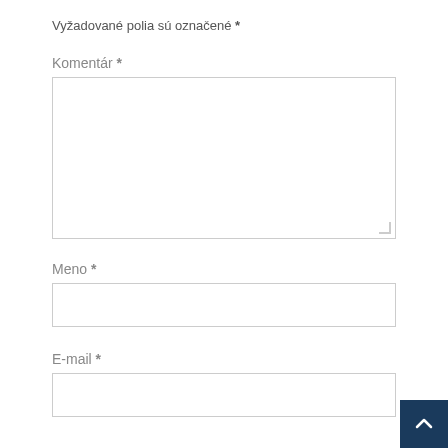Vyžadované polia sú označené *
Komentár *
[Figure (other): Large textarea input box for comment]
Meno *
[Figure (other): Text input box for name]
E-mail *
[Figure (other): Text input box for email, partially visible]
[Figure (other): Back to top button, dark blue with upward chevron arrow]